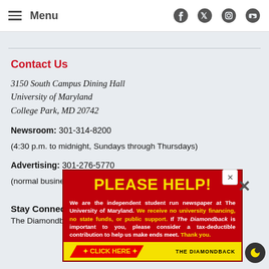Menu  [Facebook] [Twitter] [Instagram] [YouTube]
Contact Us
3150 South Campus Dining Hall
University of Maryland
College Park, MD 20742
Newsroom: 301-314-8200
(4:30 p.m. to midnight, Sundays through Thursdays)
Advertising: 301-276-5770
(normal business hours, Mondays through Fridays)
Stay Con... be
The Diamond... a non-...fit
[Figure (other): Red advertisement overlay: PLEASE HELP! with text about The Diamondback student newspaper and a CLICK HERE button]